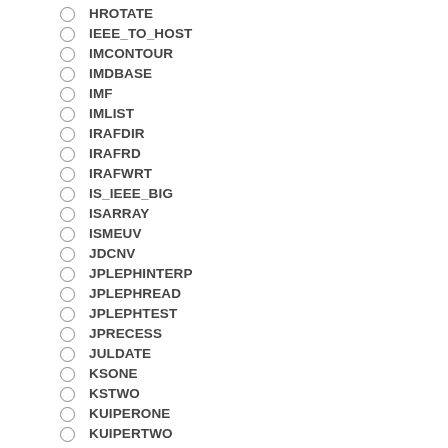HROTATE
IEEE_TO_HOST
IMCONTOUR
IMDBASE
IMF
IMLIST
IRAFDIR
IRAFRD
IRAFWRT
IS_IEEE_BIG
ISARRAY
ISMEUV
JDCNV
JPLEPHINTERP
JPLEPHREAD
JPLEPHTEST
JPRECESS
JULDATE
KSONE
KSTWO
KUIPERONE
KUIPERTWO